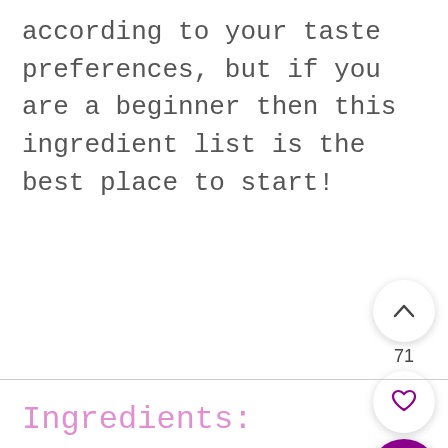according to your taste preferences, but if you are a beginner then this ingredient list is the best place to start!
[Figure (screenshot): UI buttons: upvote chevron button, count '71', heart/like button (purple outline), and purple search/magnifier button]
Ingredients: